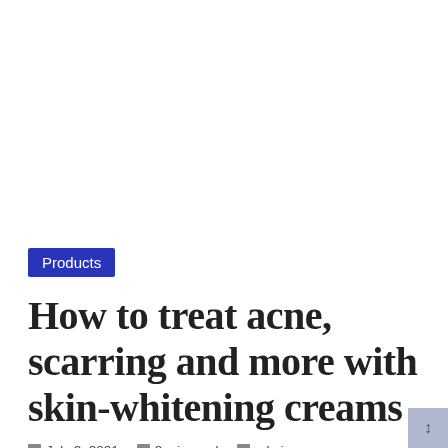[Figure (photo): White/blank area at top of page, likely a placeholder for an image]
Products
How to treat acne, scarring and more with skin-whitening creams
July 3, 2021   3 min read   admin